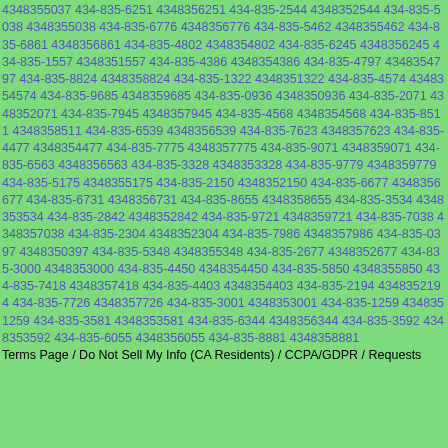4348355037 434-835-6251 4348356251 434-835-2544 4348352544 434-835-5038 4348355038 434-835-6776 4348356776 434-835-5462 4348355462 434-835-6861 4348356861 434-835-4802 4348354802 434-835-6245 4348356245 434-835-1557 4348351557 434-835-4386 4348354386 434-835-4797 4348354797 434-835-8824 4348358824 434-835-1322 4348351322 434-835-4574 4348354574 434-835-9685 4348359685 434-835-0936 4348350936 434-835-2071 4348352071 434-835-7945 4348357945 434-835-4568 4348354568 434-835-8511 4348358511 434-835-6539 4348356539 434-835-7623 4348357623 434-835-4477 4348354477 434-835-7775 4348357775 434-835-9071 4348359071 434-835-6563 4348356563 434-835-3328 4348353328 434-835-9779 4348359779 434-835-5175 4348355175 434-835-2150 4348352150 434-835-6677 4348356677 434-835-6731 4348356731 434-835-8655 4348358655 434-835-3534 4348353534 434-835-2842 4348352842 434-835-9721 4348359721 434-835-7038 4348357038 434-835-2304 4348352304 434-835-7986 4348357986 434-835-0397 4348350397 434-835-5348 4348355348 434-835-2677 4348352677 434-835-3000 4348353000 434-835-4450 4348354450 434-835-5850 4348355850 434-835-7418 4348357418 434-835-4403 4348354403 434-835-2194 4348352194 434-835-7726 4348357726 434-835-3001 4348353001 434-835-1259 4348351259 434-835-3581 4348353581 434-835-6344 4348356344 434-835-3592 4348353592 434-835-6055 4348356055 434-835-8881 4348358881
Terms Page / Do Not Sell My Info (CA Residents) / CCPA/GDPR / Requests